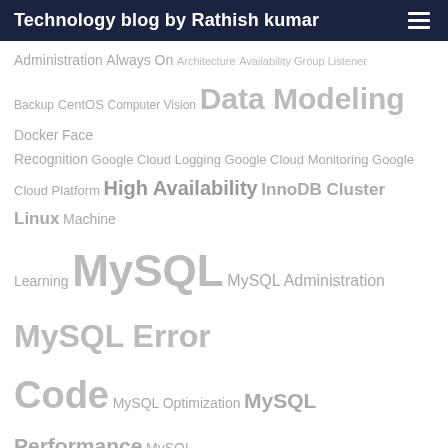Technology blog by Rathish kumar
Administration Always On Architecture Availability Group Listener Backup CentOS Computer Vision Data Modeling Docker Face Recognition Google Cloud Logging Google Cloud Monitoring Google Cloud Platform High Availability InnoDB Cluster Linux Machine Learning MySQL MySQL Administration MySQL Error Code MySQL Optimization MySQL Performance MySQL Replication Nginx Python Quorum Recovery Restoration SQL Server SSIS WSFC
LOOKING FOR SOMETHING ELSE? SEARCH HERE:
ENHANCED BY Google
SEARCH